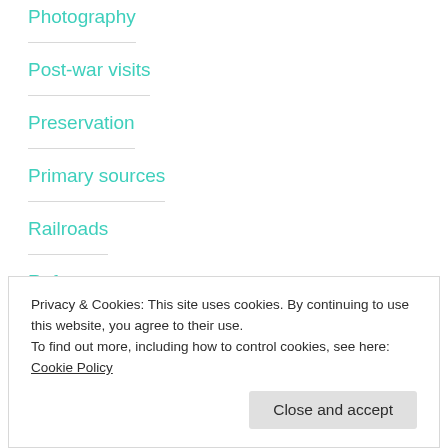Photography
Post-war visits
Preservation
Primary sources
Railroads
Refugees
Privacy & Cookies: This site uses cookies. By continuing to use this website, you agree to their use.
To find out more, including how to control cookies, see here: Cookie Policy
Close and accept